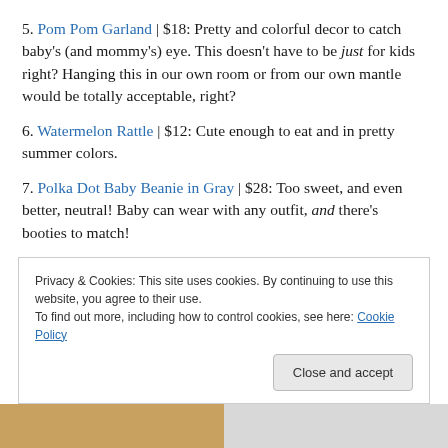5. Pom Pom Garland | $18: Pretty and colorful decor to catch baby's (and mommy's) eye. This doesn't have to be just for kids right? Hanging this in our own room or from our own mantle would be totally acceptable, right?
6. Watermelon Rattle | $12: Cute enough to eat and in pretty summer colors.
7. Polka Dot Baby Beanie in Gray | $28: Too sweet, and even better, neutral! Baby can wear with any outfit, and there's booties to match!
Privacy & Cookies: This site uses cookies. By continuing to use this website, you agree to their use. To find out more, including how to control cookies, see here: Cookie Policy